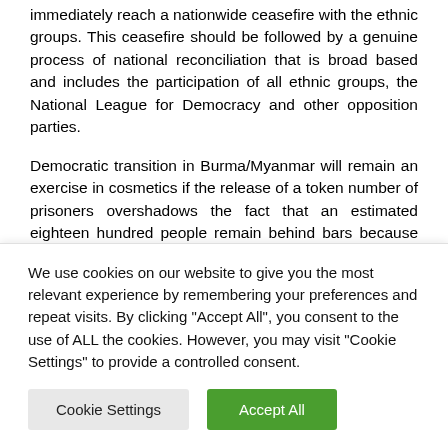immediately reach a nationwide ceasefire with the ethnic groups. This ceasefire should be followed by a genuine process of national reconciliation that is broad based and includes the participation of all ethnic groups, the National League for Democracy and other opposition parties.
Democratic transition in Burma/Myanmar will remain an exercise in cosmetics if the release of a token number of prisoners overshadows the fact that an estimated eighteen hundred people remain behind bars because of their political activity, conflicts with ethnic groups continue, and even escalate, rather than being replaced by ceasefires, dialogue and reconciliation, and the repressive laws in Burma/Myanmar
We use cookies on our website to give you the most relevant experience by remembering your preferences and repeat visits. By clicking "Accept All", you consent to the use of ALL the cookies. However, you may visit "Cookie Settings" to provide a controlled consent.